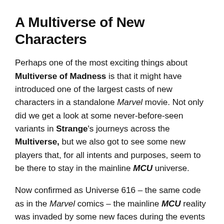A Multiverse of New Characters
Perhaps one of the most exciting things about Multiverse of Madness is that it might have introduced one of the largest casts of new characters in a standalone Marvel movie. Not only did we get a look at some never-before-seen variants in Strange's journeys across the Multiverse, but we also got to see some new players that, for all intents and purposes, seem to be there to stay in the mainline MCU universe.
Now confirmed as Universe 616 – the same code as in the Marvel comics – the mainline MCU reality was invaded by some new faces during the events of Multiverse of Madness, starting with Gargantos, an obscure beast from the darkest corners in the long history of Marvel comics.